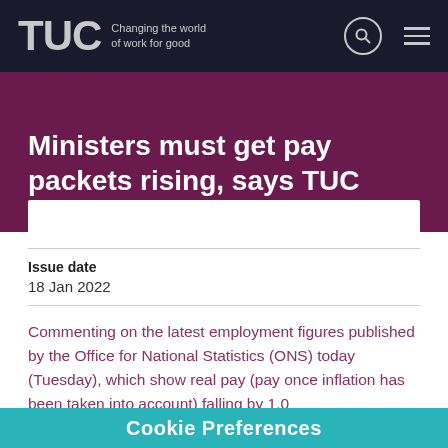TUC — Changing the world of work for good
Ministers must get pay packets rising, says TUC
Issue date
18 Jan 2022
Commenting on the latest employment figures published by the Office for National Statistics (ONS) today (Tuesday), which show real pay (pay once inflation has been taken into account) falling by 1.0
Cookie Preferences